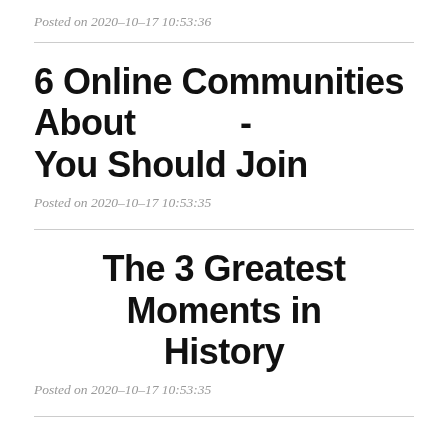Posted on 2020-10-17 10:53:36
6 Online Communities About           - You Should Join
Posted on 2020-10-17 10:53:35
The 3 Greatest Moments in History
Posted on 2020-10-17 10:53:35